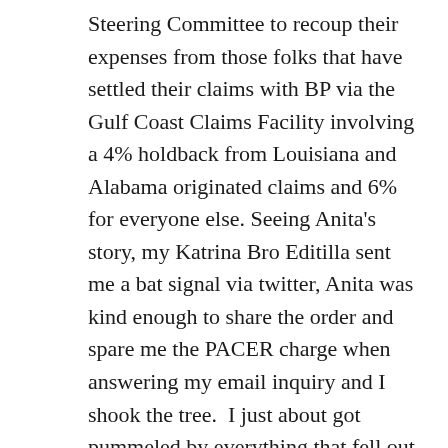Steering Committee to recoup their expenses from those folks that have settled their claims with BP via the Gulf Coast Claims Facility involving a 4% holdback from Louisiana and Alabama originated claims and 6% for everyone else. Seeing Anita's story, my Katrina Bro Editilla sent me a bat signal via twitter, Anita was kind enough to share the order and spare me the PACER charge when answering my email inquiry and I shook the tree.  I just about got pummeled by everything that fell out but today we'll start by saying while we've favorably blogged on Judge Barbier's rulings in post Katrina insurance litigation his latest ruling is way off base IMHO. In fact it stinks folks.